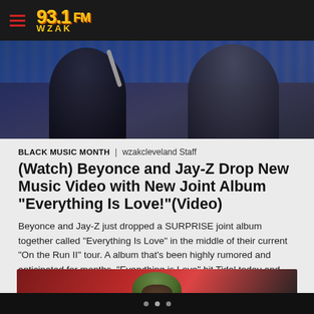93.1 FM WZAK
[Figure (photo): Two performers on stage, one leaning toward a microphone, dark stage background with blue and grey tones]
BLACK MUSIC MONTH | wzakcleveland Staff
(Watch) Beyonce and Jay-Z Drop New Music Video with New Joint Album “Everything Is Love!”(Video)
Beyonce and Jay-Z just dropped a SURPRISE joint album together called “Everything Is Love” in the middle of their current “On the Run II” tour. A album that’s been highly rumored and anticipated for months. “Everything is Love” hit Tidal today and features 9 whole songs by Jay and Bey together! She announced it on […]
[Figure (photo): Performer on stage wearing a camouflage hat, red background]
• • •